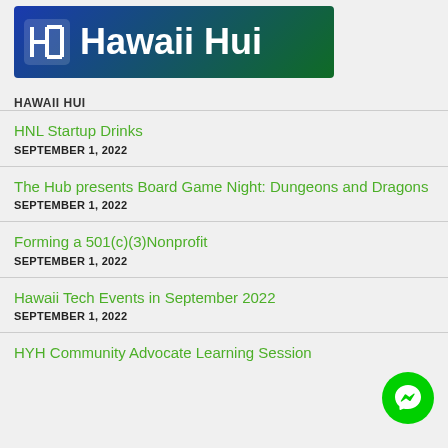[Figure (logo): Hawaii Hui logo banner with gradient blue-to-green background, white H grid icon and white text 'Hawaii Hui']
HAWAII HUI
HNL Startup Drinks
SEPTEMBER 1, 2022
The Hub presents Board Game Night: Dungeons and Dragons
SEPTEMBER 1, 2022
Forming a 501(c)(3)Nonprofit
SEPTEMBER 1, 2022
Hawaii Tech Events in September 2022
SEPTEMBER 1, 2022
HYH Community Advocate Learning Session